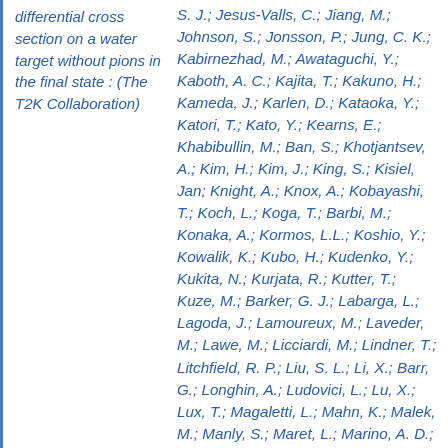differential cross section on a water target without pions in the final state : (The T2K Collaboration)
S. J.; Jesus-Valls, C.; Jiang, M.; Johnson, S.; Jonsson, P.; Jung, C. K.; Kabirnezhad, M.; Awataguchi, Y.; Kaboth, A. C.; Kajita, T.; Kakuno, H.; Kameda, J.; Karlen, D.; Kataoka, Y.; Katori, T.; Kato, Y.; Kearns, E.; Khabibullin, M.; Ban, S.; Khotjantsev, A.; Kim, H.; Kim, J.; King, S.; Kisiel, Jan; Knight, A.; Knox, A.; Kobayashi, T.; Koch, L.; Koga, T.; Barbi, M.; Konaka, A.; Kormos, L.L.; Koshio, Y.; Kowalik, K.; Kubo, H.; Kudenko, Y.; Kukita, N.; Kurjata, R.; Kutter, T.; Kuze, M.; Barker, G. J.; Labarga, L.; Lagoda, J.; Lamoureux, M.; Laveder, M.; Lawe, M.; Licciardi, M.; Lindner, T.; Litchfield, R. P.; Liu, S. L.; Li, X.; Barr, G.; Longhin, A.; Ludovici, L.; Lu, X.; Lux, T.; Magaletti, L.; Mahn, K.; Malek, M.; Manly, S.; Maret, L.; Marino, A. D.; Barry, C.; Martin, J. F.; Maruyama, T.; Matsubara, T.;